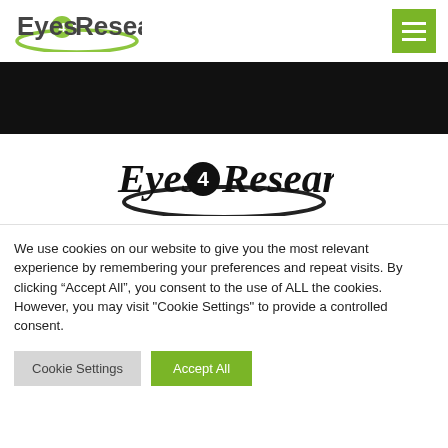[Figure (logo): Eyes4Research logo in green and dark gray, small version in top-left of header]
[Figure (logo): Hamburger menu icon (three white horizontal lines) on green square background, top-right of header]
[Figure (illustration): Black banner/hero image strip across full width]
[Figure (logo): Eyes4Research logo in black, centered, large version below black banner]
We use cookies on our website to give you the most relevant experience by remembering your preferences and repeat visits. By clicking “Accept All”, you consent to the use of ALL the cookies. However, you may visit "Cookie Settings" to provide a controlled consent.
Cookie Settings
Accept All